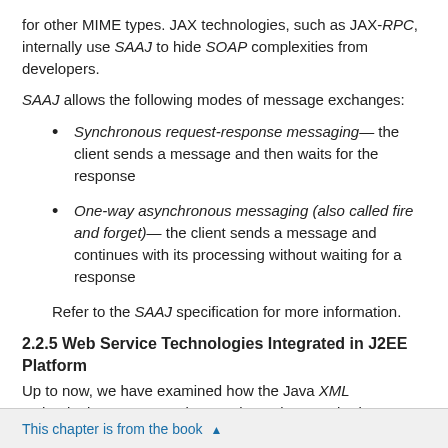for other MIME types. JAX technologies, such as JAX-RPC, internally use SAAJ to hide SOAP complexities from developers.
SAAJ allows the following modes of message exchanges:
Synchronous request-response messaging— the client sends a message and then waits for the response
One-way asynchronous messaging (also called fire and forget)— the client sends a message and continues with its processing without waiting for a response
Refer to the SAAJ specification for more information.
2.2.5 Web Service Technologies Integrated in J2EE Platform
Up to now, we have examined how the Java XML technologies support various Web service standards. Now let's see how the J2EE 1.4 platform combines these technologies into a standard platform that is portable and integrated. Not only are the Java XML technologies integrated into the platform, the platform also defines
This chapter is from the book ▲